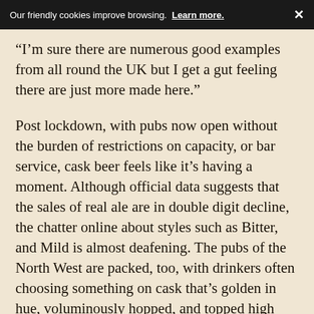Our friendly cookies improve browsing.  Learn more.  ✕
“I’m sure there are numerous good examples from all round the UK but I get a gut feeling there are just more made here.”
Post lockdown, with pubs now open without the burden of restrictions on capacity, or bar service, cask beer feels like it’s having a moment. Although official data suggests that the sales of real ale are in double digit decline, the chatter online about styles such as Bitter, and Mild is almost deafening. The pubs of the North West are packed, too, with drinkers often choosing something on cask that’s golden in hue, voluminously hopped, and topped high with glass-clinging foam.